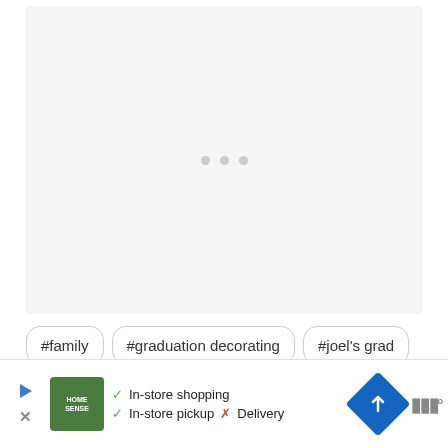[Figure (other): Loading placeholder area with three grey dots in the center indicating content is loading]
#family
#graduation decorating
#joel's grad
[Figure (other): Advertisement bar: Home Sense store logo with green background, checkmarks for In-store shopping and In-store pickup, red X for Delivery, a blue diamond route icon, and a wave/menu icon]